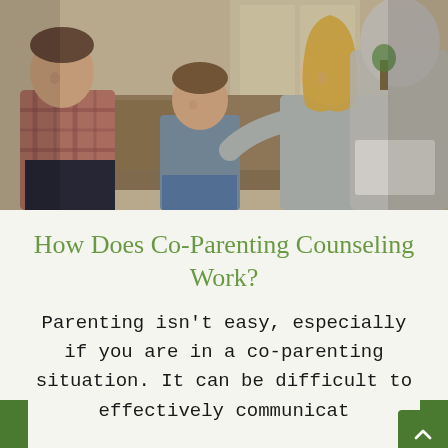[Figure (photo): A family counseling session showing a man in a plaid shirt, a young boy sitting with arms crossed looking down, and a woman with long blonde hair placing her hand on the boy's shoulder, with a counselor in the foreground holding papers.]
How Does Co-Parenting Counseling Work?
Parenting isn't easy, especially if you are in a co-parenting situation. It can be difficult to effectively communicat…